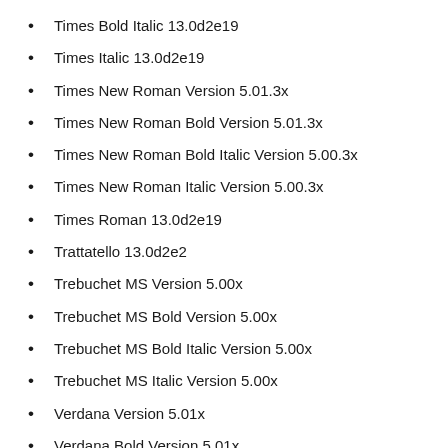Times Bold Italic 13.0d2e19
Times Italic 13.0d2e19
Times New Roman Version 5.01.3x
Times New Roman Bold Version 5.01.3x
Times New Roman Bold Italic Version 5.00.3x
Times New Roman Italic Version 5.00.3x
Times Roman 13.0d2e19
Trattatello 13.0d2e2
Trebuchet MS Version 5.00x
Trebuchet MS Bold Version 5.00x
Trebuchet MS Bold Italic Version 5.00x
Trebuchet MS Italic Version 5.00x
Verdana Version 5.01x
Verdana Bold Version 5.01x